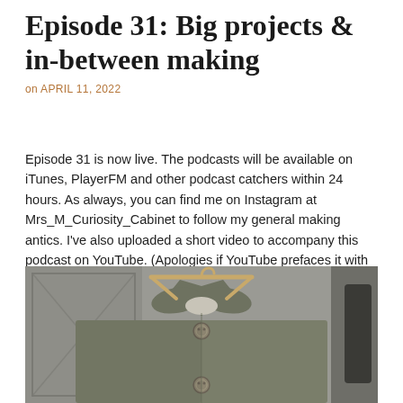Episode 31: Big projects & in-between making
on APRIL 11, 2022
Episode 31 is now live. The podcasts will be available on iTunes, PlayerFM and other podcast catchers within 24 hours. As always, you can find me on Instagram at Mrs_M_Curiosity_Cabinet to follow my general making antics. I've also uploaded a short video to accompany this podcast on YouTube. (Apologies if YouTube prefaces it with adverts. I have no means [...]
[Figure (photo): A grey-green wool coat on a wooden hanger, with a flat collar and two metal buttons visible, photographed against a grey wardrobe door.]